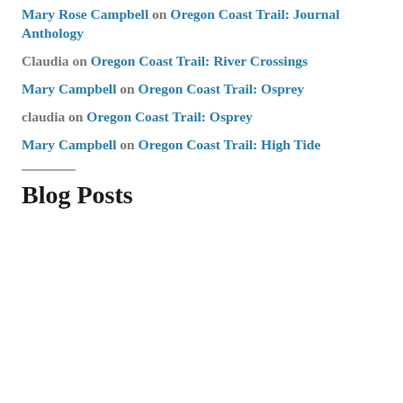Mary Rose Campbell on Oregon Coast Trail: Journal Anthology
Claudia on Oregon Coast Trail: River Crossings
Mary Campbell on Oregon Coast Trail: Osprey
claudia on Oregon Coast Trail: Osprey
Mary Campbell on Oregon Coast Trail: High Tide
Blog Posts